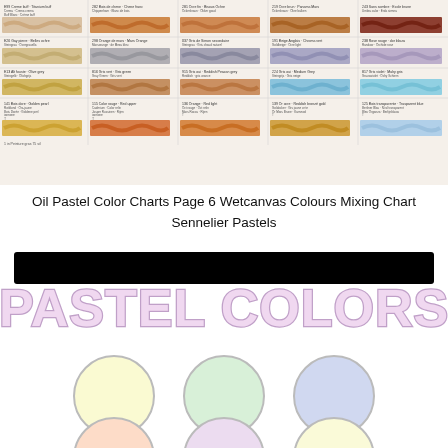[Figure (illustration): Oil pastel color chart showing a grid of color swatches with multilingual color names and numbers, arranged in 5 columns and 4 rows on a cream/white background]
Oil Pastel Color Charts Page 6 Wetcanvas Colours Mixing Chart Sennelier Pastels
[Figure (illustration): Pastel colors promotional graphic with black banner bar at top, large bubble-letter text reading 'PASTEL COLORS' in lavender/pink outline, and six pastel-colored circles (yellow, green, blue in top row; peach, lavender, pale yellow in bottom row)]